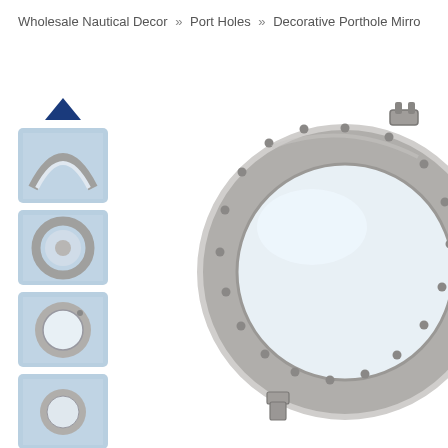Wholesale Nautical Decor » Port Holes » Decorative Porthole Mirro
[Figure (photo): Large decorative porthole mirror with silver/nickel metallic ring frame, featuring rivets around the edge and a hinge/latch mechanism, showing a mirror interior. Product listing main image.]
[Figure (photo): Thumbnail 1: Close-up of porthole mirror ring top portion]
[Figure (photo): Thumbnail 2: Porthole mirror showing both ring halves]
[Figure (photo): Thumbnail 3: Porthole mirror front view with full ring and mirror]
[Figure (photo): Thumbnail 4: Porthole mirror close-up angled view]